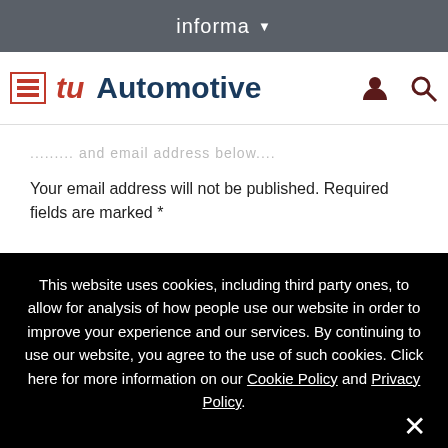informa
TU Automotive
......... and email address below....
Your email address will not be published. Required fields are marked *
This website uses cookies, including third party ones, to allow for analysis of how people use our website in order to improve your experience and our services. By continuing to use our website, you agree to the use of such cookies. Click here for more information on our Cookie Policy and Privacy Policy.